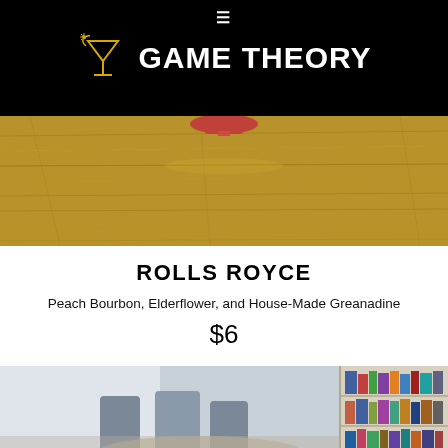≡ GAME THEORY
[Figure (photo): Close-up photo of a cocktail glass on a wooden table, warm brown tones]
ROLLS ROYCE
Peach Bourbon, Elderflower, and House-Made Greanadine
$6
[Figure (photo): Interior of Game Theory bar/venue showing chairs and a bookshelf]